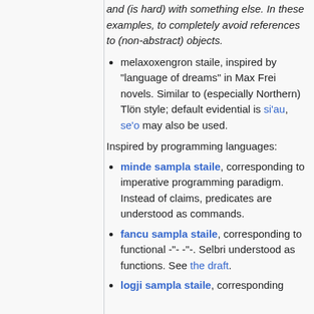and (is hard) with something else. In these examples, to completely avoid references to (non-abstract) objects.
melaxoxengron staile, inspired by “language of dreams” in Max Frei novels. Similar to (especially Northern) Tlön style; default evidential is si'au, se'o may also be used.
Inspired by programming languages:
minde sampla staile, corresponding to imperative programming paradigm. Instead of claims, predicates are understood as commands.
fancu sampla staile, corresponding to functional -"- -"-. Selbri understood as functions. See the draft.
logji sampla staile, corresponding